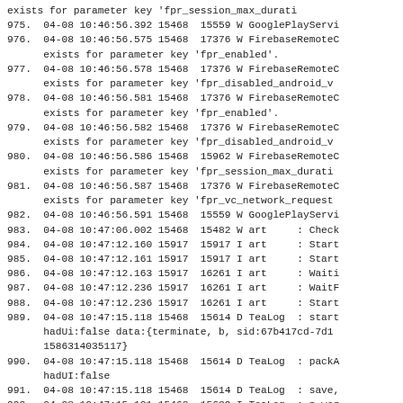exists for parameter key 'fpr_session_max_durati
975.  04-08 10:46:56.392 15468  15559 W GooglePlayServi
976.  04-08 10:46:56.575 15468  17376 W FirebaseRemoteC
      exists for parameter key 'fpr_enabled'.
977.  04-08 10:46:56.578 15468  17376 W FirebaseRemoteC
      exists for parameter key 'fpr_disabled_android_v
978.  04-08 10:46:56.581 15468  17376 W FirebaseRemoteC
      exists for parameter key 'fpr_enabled'.
979.  04-08 10:46:56.582 15468  17376 W FirebaseRemoteC
      exists for parameter key 'fpr_disabled_android_v
980.  04-08 10:46:56.586 15468  15962 W FirebaseRemoteC
      exists for parameter key 'fpr_session_max_durati
981.  04-08 10:46:56.587 15468  17376 W FirebaseRemoteC
      exists for parameter key 'fpr_vc_network_request
982.  04-08 10:46:56.591 15468  15559 W GooglePlayServi
983.  04-08 10:47:06.002 15468  15482 W art     : Check
984.  04-08 10:47:12.160 15917  15917 I art     : Start
985.  04-08 10:47:12.161 15917  15917 I art     : Start
986.  04-08 10:47:12.163 15917  16261 I art     : Waiti
987.  04-08 10:47:12.236 15917  16261 I art     : WaitF
988.  04-08 10:47:12.236 15917  16261 I art     : Start
989.  04-08 10:47:15.118 15468  15614 D TeaLog  : start
      hadUi:false data:{terminate, b, sid:67b417cd-7d1
      1586314035117}
990.  04-08 10:47:15.118 15468  15614 D TeaLog  : packA
      hadUI:false
991.  04-08 10:47:15.118 15468  15614 D TeaLog  : save,
992.  04-08 10:47:15.121 15468  15639 I TeaLog  : p wor
993.  04-08 10:47:15.124 15468  15639 D TeaLog  : query